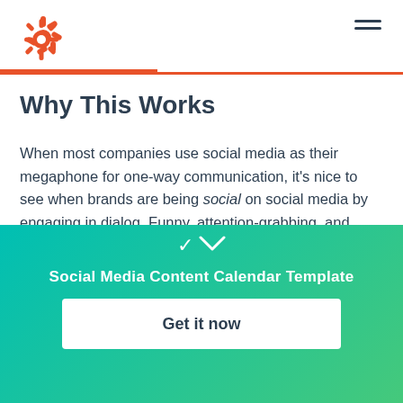HubSpot logo and hamburger menu
Why This Works
When most companies use social media as their megaphone for one-way communication, it's nice to see when brands are being social on social media by engaging in dialog. Funny, attention-grabbing, and engaging content will help your social media page stand out from the competition. Companies that
Social Media Content Calendar Template
Get it now